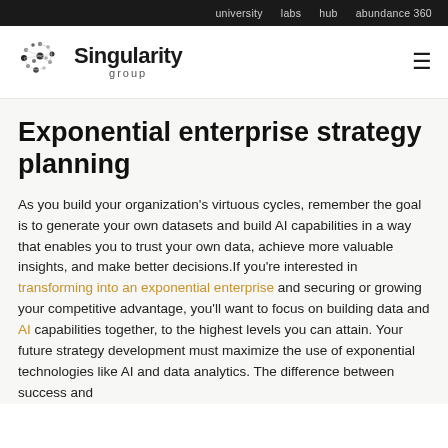university   labs   hub   abundance 360
[Figure (logo): Singularity Group logo with dot-cluster icon and text 'Singularity group']
Exponential enterprise strategy planning
As you build your organization's virtuous cycles, remember the goal is to generate your own datasets and build AI capabilities in a way that enables you to trust your own data, achieve more valuable insights, and make better decisions.If you're interested in transforming into an exponential enterprise and securing or growing your competitive advantage, you'll want to focus on building data and AI capabilities together, to the highest levels you can attain. Your future strategy development must maximize the use of exponential technologies like AI and data analytics. The difference between success and